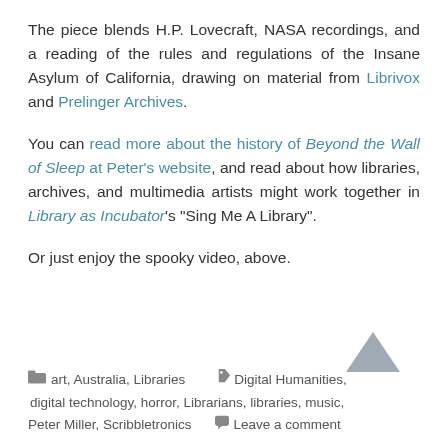The piece blends H.P. Lovecraft, NASA recordings, and a reading of the rules and regulations of the Insane Asylum of California, drawing on material from Librivox and Prelinger Archives.
You can read more about the history of Beyond the Wall of Sleep at Peter's website, and read about how libraries, archives, and multimedia artists might work together in Library as Incubator's "Sing Me A Library".
Or just enjoy the spooky video, above.
art, Australia, Libraries   Digital Humanities, digital technology, horror, Librarians, libraries, music, Peter Miller, Scribbletronics   Leave a comment